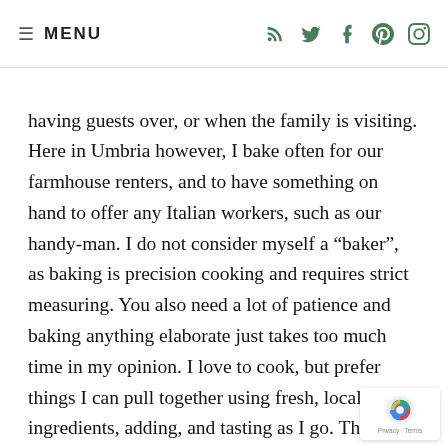≡ MENU
having guests over, or when the family is visiting. Here in Umbria however, I bake often for our farmhouse renters, and to have something on hand to offer any Italian workers, such as our handy-man. I do not consider myself a “baker”, as baking is precision cooking and requires strict measuring. You also need a lot of patience and baking anything elaborate just takes too much time in my opinion. I love to cook, but prefer things I can pull together using fresh, local ingredients, adding, and tasting as I go. That simply cannot happen when baking. This cake however, cannot be any easier to make, and you do not even need an electric mixer!